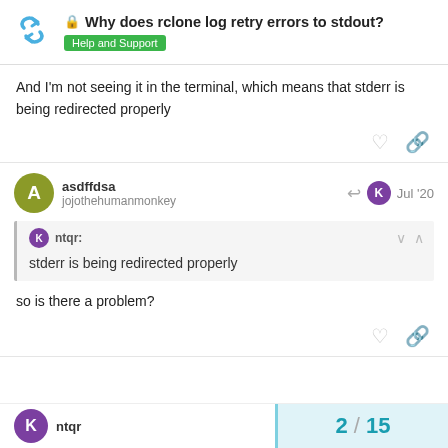Why does rclone log retry errors to stdout? — Help and Support
And I'm not seeing it in the terminal, which means that stderr is being redirected properly
asdffdsa jojothehumanmonkey — Jul '20
ntqr: stderr is being redirected properly
so is there a problem?
ntqr — 2 / 15